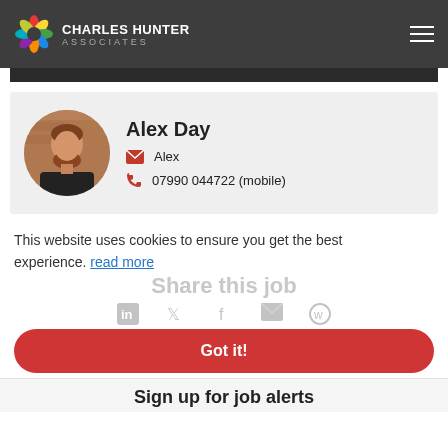CHARLES HUNTER ASSOCIATES
[Figure (photo): Headshot of Alex Day, a man with a beard wearing a dark shirt, in a circular frame.]
Alex Day
Alex
07990 044722 (mobile)
This website uses cookies to ensure you get the best experience. read more
Share this job
Got it!
Sign up for job alerts